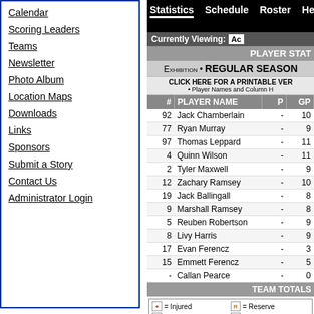Calendar
Scoring Leaders
Teams
Newsletter
Photo Album
Location Maps
Downloads
Links
Sponsors
Submit a Story
Contact Us
Administrator Login
Statistics  Schedule  Roster  Head...
Currently Viewing: Ac...
PLAYER STAT...
EXHIBITION • REGULAR SEASON
CLICK HERE FOR A PRINTABLE VER... • Player Names and Column H...
| # | PLAYER NAME | P | GP |
| --- | --- | --- | --- |
| 92 | Jack Chamberlain | - | 10 |
| 77 | Ryan Murray | - | 9 |
| 97 | Thomas Leppard | - | 11 |
| 4 | Quinn Wilson | - | 11 |
| 2 | Tyler Maxwell | - | 9 |
| 12 | Zachary Ramsey | - | 10 |
| 19 | Jack Ballingall | - | 8 |
| 9 | Marshall Ramsey | - | 8 |
| 5 | Reuben Robertson | - | 9 |
| 8 | Livy Harris | - | 9 |
| 17 | Evan Ferencz | - | 3 |
| 15 | Emmett Ferencz | - | 5 |
| - | Callan Pearce | - | 0 |
TEAM TOTALS
[+] = Injured  [S] = Suspended  [R] = Rookie  [reserve] = Reserve  [I] = Import  [A] = Affiliate